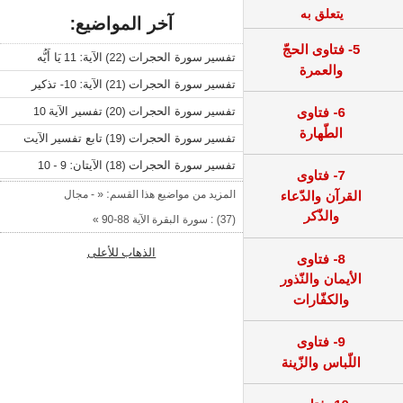آخر المواضيع:
تفسير سورة الحجرات (22) الآية: 11 يَا أَيُّه
تفسير سورة الحجرات (21) الآية: 10- تذكير
تفسير سورة الحجرات (20) تفسير الآية 10
تفسير سورة الحجرات (19) تابع تفسير الآيت
تفسير سورة الحجرات (18) الآيتان: 9 - 10
المزيد من مواضيع هذا القسم: « - مجالد (37) : سورة البقرة الآية 88-90 »
الذهاب للأعلى
يتعلق به
5- فتاوى الحجّ والعمرة
6- فتاوى الطّهارة
7- فتاوى القرآن والدّعاء والذّكر
8- فتاوى الأيمان والنّذور والكفّارات
9- فتاوى اللّباس والزّينة
10- فتاوى